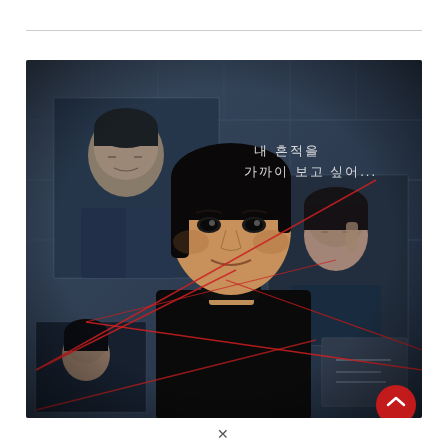[Figure (photo): Korean TV drama promotional poster featuring a man in a black turtleneck in the center foreground staring intensely at the viewer, with photos of other characters pinned to a wall behind him. Red string crosses the images connecting them. Korean text reads: 내 흔적을 가까이 보고 싶어... A small red circular icon appears at the bottom right corner.]
✕